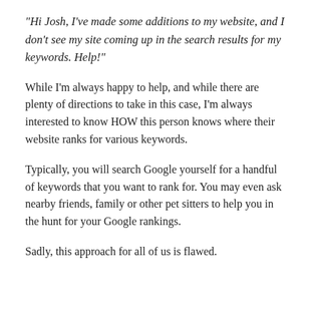"Hi Josh, I've made some additions to my website, and I don't see my site coming up in the search results for my keywords. Help!"
While I'm always happy to help, and while there are plenty of directions to take in this case, I'm always interested to know HOW this person knows where their website ranks for various keywords.
Typically, you will search Google yourself for a handful of keywords that you want to rank for. You may even ask nearby friends, family or other pet sitters to help you in the hunt for your Google rankings.
Sadly, this approach for all of us is flawed.